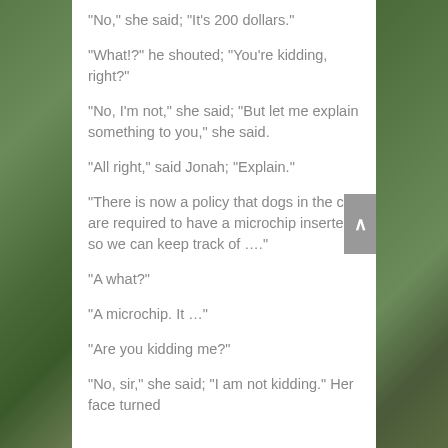“No,” she said; “It’s 200 dollars.”
“What!?” he shouted; “You’re kidding, right?”
“No, I’m not,” she said; “But let me explain something to you,” she said.
“All right,” said Jonah; “Explain.”
“There is now a policy that dogs in the city are required to have a microchip inserted so we can keep track of ….”
“A what?”
“A microchip. It …”
“Are you kidding me?”
“No, sir,” she said; “I am not kidding.” Her face turned